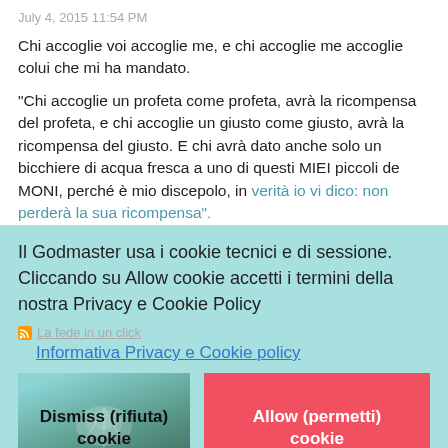July 4, 2015 11:54 PM
Chi accoglie voi accoglie me, e chi accoglie me accoglie colui che mi ha mandato.
"Chi accoglie un profeta come profeta, avrà la ricompensa del profeta, e chi accoglie un giusto come giusto, avrà la ricompensa del giusto. E chi avrà dato anche solo un bicchiere di acqua fresca a uno di questi MIEI piccoli de MONI, perché è mio discepolo, in verità io vi dico: non perderà la sua ricompensa".
Il Godmaster usa i cookie tecnici e di sessione. Cliccando su Allow cookie accetti i termini della nostra Privacy e Cookie Policy
La fede in un click
Informativa Privacy e Cookie policy
Dismiss (rifiuta) cookie
Allow (permetti) cookie